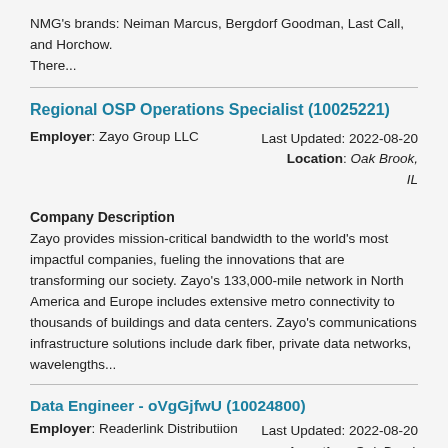NMG's brands: Neiman Marcus, Bergdorf Goodman, Last Call, and Horchow.
There...
Regional OSP Operations Specialist (10025221)
Employer: Zayo Group LLC
Last Updated: 2022-08-20
Location: Oak Brook, IL
Company Description
Zayo provides mission-critical bandwidth to the world's most impactful companies, fueling the innovations that are transforming our society. Zayo's 133,000-mile network in North America and Europe includes extensive metro connectivity to thousands of buildings and data centers. Zayo's communications infrastructure solutions include dark fiber, private data networks, wavelengths...
Data Engineer - oVgGjfwU (10024800)
Employer: Readerlink Distributiion
Last Updated: 2022-08-20
Location: Oak Brook